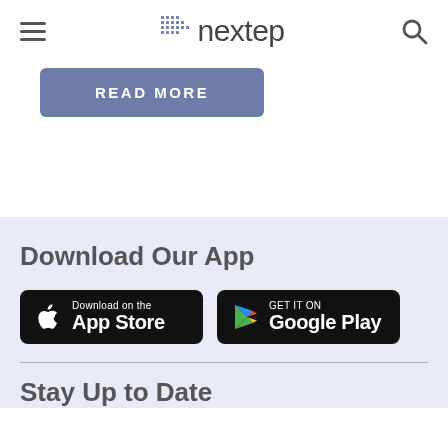nextep
READ MORE
Download Our App
[Figure (screenshot): App Store download button (black rounded rectangle with Apple logo, text 'Download on the App Store')]
[Figure (screenshot): Google Play download button (black rounded rectangle with Google Play logo, text 'GET IT ON Google Play')]
Stay Up to Date